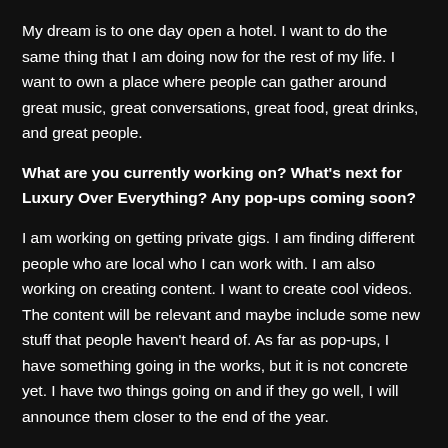My dream is to one day open a hotel. I want to do the same thing that I am doing now for the rest of my life. I want to own a place where people can gather around great music, great conversations, great food, great drinks, and great people.
What are you currently working on? What's next for Luxury Over Everything? Any pop-ups coming soon?
I am working on getting private gigs. I am finding different people who are local who I can work with. I am also working on creating content. I want to create cool videos. The content will be relevant and maybe include some new stuff that people haven't heard of. As far as pop-ups, I have something going in the works, but it is not concrete yet. I have two things going on and if they go well, I will announce them closer to the end of the year.